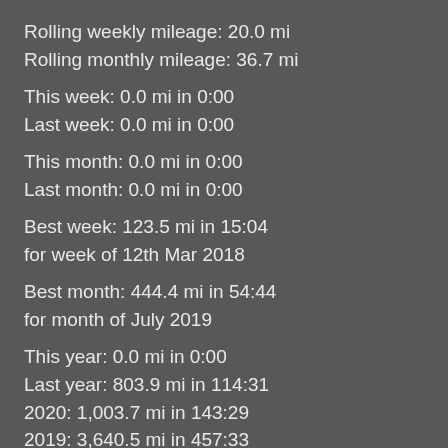Rolling weekly mileage: 20.0 mi
Rolling monthly mileage: 36.7 mi
This week: 0.0 mi in 0:00
Last week: 0.0 mi in 0:00
This month: 0.0 mi in 0:00
Last month: 0.0 mi in 0:00
Best week: 123.5 mi in 15:04
for week of 12th Mar 2018
Best month: 444.4 mi in 54:44
for month of July 2019
This year: 0.0 mi in 0:00
Last year: 803.9 mi in 114:31
2020: 1,003.7 mi in 143:29
2019: 3,640.5 mi in 457:33
2018: 3,168.3 mi in 399:40
2017: 3,501.9 mi in 453:53
2016: 3,350.2 mi in 431:25